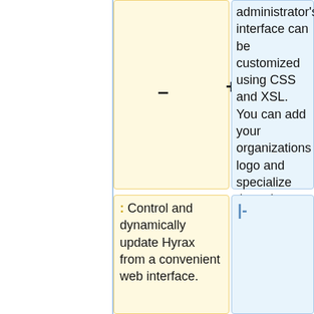administrator's interface can be customized using CSS and XSL. You can add your organizations logo and specialize the colors and fonts in the presentation of data sets.
– (minus symbol)
+ (plus symbol)
|-
: Control and dynamically update Hyrax from a convenient web interface.